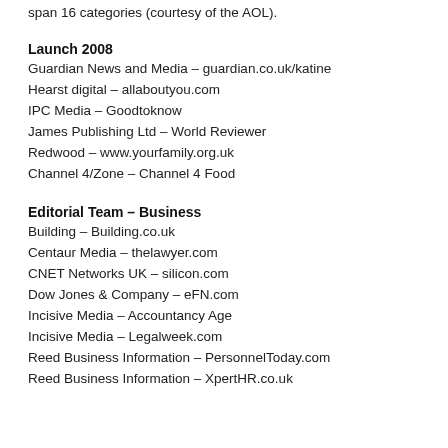span 16 categories (courtesy of the AOL).
Launch 2008
Guardian News and Media – guardian.co.uk/katine
Hearst digital – allaboutyou.com
IPC Media – Goodtoknow
James Publishing Ltd – World Reviewer
Redwood – www.yourfamily.org.uk
Channel 4/Zone – Channel 4 Food
Editorial Team – Business
Building – Building.co.uk
Centaur Media – thelawyer.com
CNET Networks UK – silicon.com
Dow Jones & Company – eFN.com
Incisive Media – Accountancy Age
Incisive Media – Legalweek.com
Reed Business Information – PersonnelToday.com
Reed Business Information – XpertHR.co.uk